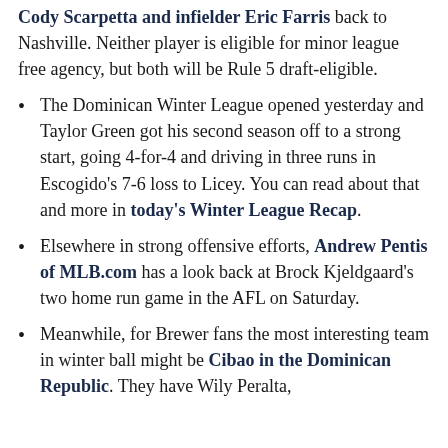Cody Scarpetta and infielder Eric Farris back to Nashville. Neither player is eligible for minor league free agency, but both will be Rule 5 draft-eligible.
The Dominican Winter League opened yesterday and Taylor Green got his second season off to a strong start, going 4-for-4 and driving in three runs in Escogido's 7-6 loss to Licey. You can read about that and more in today's Winter League Recap.
Elsewhere in strong offensive efforts, Andrew Pentis of MLB.com has a look back at Brock Kjeldgaard's two home run game in the AFL on Saturday.
Meanwhile, for Brewer fans the most interesting team in winter ball might be Cibao in the Dominican Republic. They have Wily Peralta,